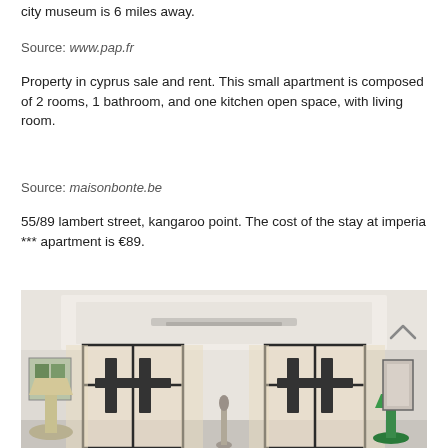city museum is 6 miles away.
Source: www.pap.fr
Property in cyprus sale and rent. This small apartment is composed of 2 rooms, 1 bathroom, and one kitchen open space, with living room.
Source: maisonbonte.be
55/89 lambert street, kangaroo point. The cost of the stay at imperia *** apartment is €89.
[Figure (photo): Interior of an apartment living room with tall windows with dark frames, sheer curtains, white coffered ceiling, lamps with beige shades, green decorative accents, and a small sculpture on the floor.]